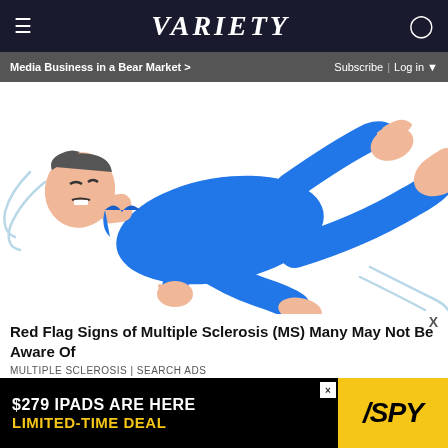VARIETY | Media Business in a Bear Market > | Subscribe | Log in
[Figure (illustration): Cartoon illustration of a person in a blue suit lying on their back with limbs convulsing/flailing, suggesting a medical episode, on a white background.]
Red Flag Signs of Multiple Sclerosis (MS) Many May Not Be Aware Of
MULTIPLE SCLEROSIS | SEARCH ADS
[Figure (infographic): Bottom banner advertisement: '$279 IPADS ARE HERE / LIMITED-TIME DEAL' with SPY logo on yellow background.]